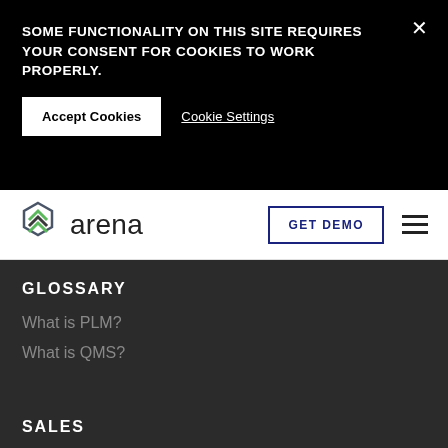SOME FUNCTIONALITY ON THIS SITE REQUIRES YOUR CONSENT FOR COOKIES TO WORK PROPERLY.
Accept Cookies
Cookie Settings
[Figure (logo): Arena by PTC logo — green hexagonal icon and 'arena' wordmark in dark grey]
GET DEMO
GLOSSARY
What is PLM?
What is QMS?
SALES
arena-sales@ptc.com
+1.866.937.1438